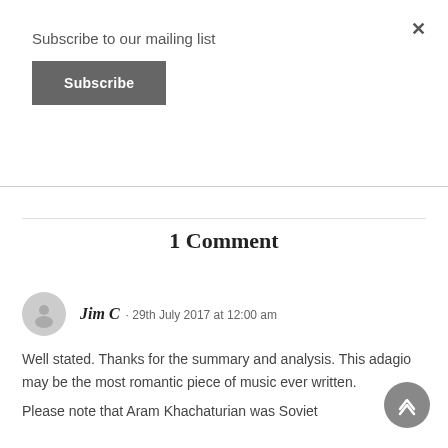Subscribe to our mailing list
Subscribe
1 Comment
Jim C · 29th July 2017 at 12:00 am
Well stated. Thanks for the summary and analysis. This adagio may be the most romantic piece of music ever written.
Please note that Aram Khachaturian was Soviet